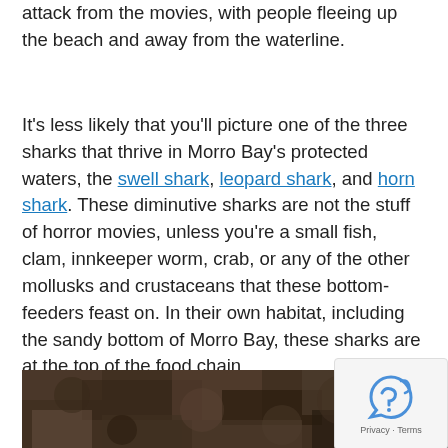attack from the movies, with people fleeing up the beach and away from the waterline.
It's less likely that you'll picture one of the three sharks that thrive in Morro Bay's protected waters, the swell shark, leopard shark, and horn shark. These diminutive sharks are not the stuff of horror movies, unless you're a small fish, clam, innkeeper worm, crab, or any of the other mollusks and crustaceans that these bottom-feeders feast on. In their own habitat, including the sandy bottom of Morro Bay, these sharks are at the top of the food chain.
[Figure (photo): Close-up photo of rocky/barnacle-covered seafloor or tidal zone, dark muted tones of brown, grey, and olive.]